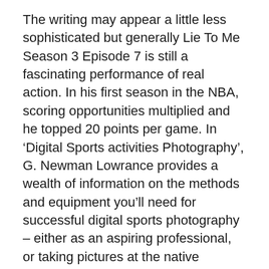The writing may appear a little less sophisticated but generally Lie To Me Season 3 Episode 7 is still a fascinating performance of real action. In his first season in the NBA, scoring opportunities multiplied and he topped 20 points per game. In ‘Digital Sports activities Photography’, G. Newman Lowrance provides a wealth of information on the methods and equipment you’ll need for successful digital sports photography – either as an aspiring professional, or taking pictures at the native basketball game.
In 2016, a white supremacist Twitter account spouted blatantly false information about a “human trafficking” ring involving Hillary Clinton that originated from a pizza parlor in Washington, D.C. By Day 90, the calves who...